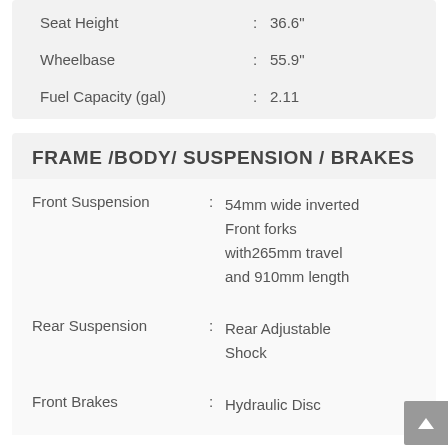| Specification |  | Value |
| --- | --- | --- |
| Seat Height | : | 36.6" |
| Wheelbase | : | 55.9" |
| Fuel Capacity (gal) | : | 2.11 |
FRAME /BODY/ SUSPENSION / BRAKES
| Specification |  | Value |
| --- | --- | --- |
| Front Suspension | : | 54mm wide inverted Front forks with265mm travel and 910mm length |
| Rear Suspension | : | Rear Adjustable Shock |
| Front Brakes | : | Hydraulic Disc |